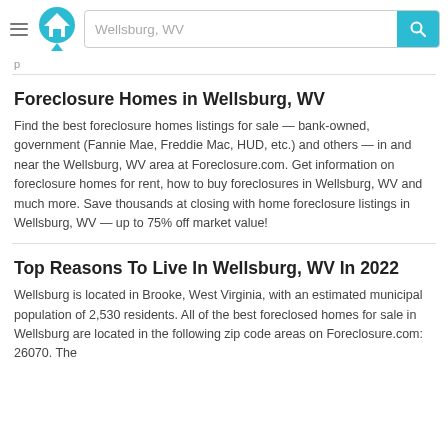[Figure (screenshot): Website header with hamburger menu, house logo in cyan, search bar with 'Wellsburg, WV' placeholder, and cyan search button with magnifying glass icon]
p
Foreclosure Homes in Wellsburg, WV
Find the best foreclosure homes listings for sale — bank-owned, government (Fannie Mae, Freddie Mac, HUD, etc.) and others — in and near the Wellsburg, WV area at Foreclosure.com. Get information on foreclosure homes for rent, how to buy foreclosures in Wellsburg, WV and much more. Save thousands at closing with home foreclosure listings in Wellsburg, WV — up to 75% off market value!
Top Reasons To Live In Wellsburg, WV In 2022
Wellsburg is located in Brooke, West Virginia, with an estimated municipal population of 2,530 residents. All of the best foreclosed homes for sale in Wellsburg are located in the following zip code areas on Foreclosure.com: 26070. The